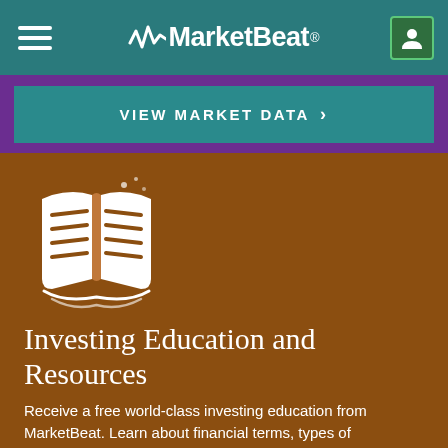MarketBeat
VIEW MARKET DATA >
[Figure (illustration): Open book icon in white on brown background]
Investing Education and Resources
Receive a free world-class investing education from MarketBeat. Learn about financial terms, types of investments, trading strategies and more.